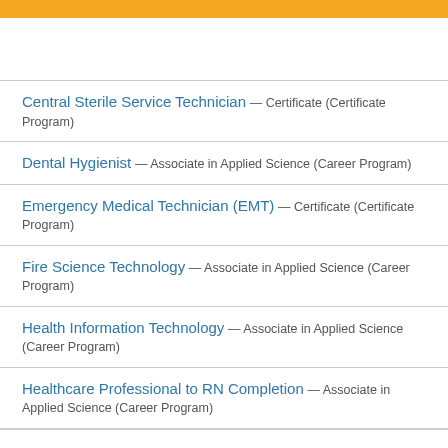Central Sterile Service Technician — Certificate (Certificate Program)
Dental Hygienist — Associate in Applied Science (Career Program)
Emergency Medical Technician (EMT) — Certificate (Certificate Program)
Fire Science Technology — Associate in Applied Science (Career Program)
Health Information Technology — Associate in Applied Science (Career Program)
Healthcare Professional to RN Completion — Associate in Applied Science (Career Program)